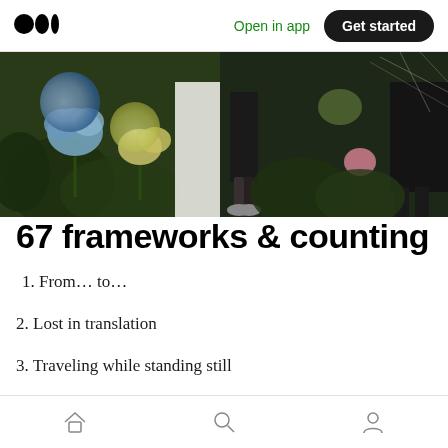Medium logo | Open in app | Get started
[Figure (photo): Cropped garden/outdoor photo showing colorful flowers (blue hydrangeas, yellow flowers) and legs of people standing among plants]
67 frameworks & counting
1. From… to…
2. Lost in translation
3. Traveling while standing still
4. Looking in to look out
Home | Search | Profile (bottom navigation icons)